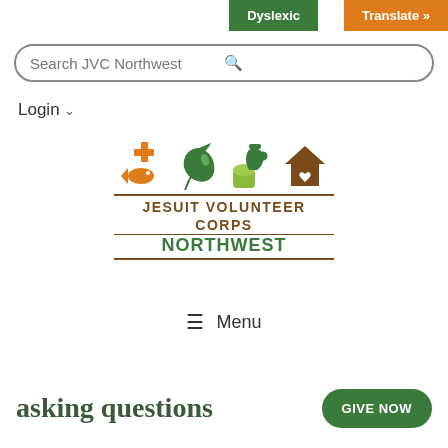[Figure (screenshot): Dyslexic button - dark green background with white bold text]
[Figure (screenshot): Translate >> button - orange background with white bold text]
Search JVC Northwest
Login
[Figure (logo): Jesuit Volunteer Corps Northwest logo with four icons (cross/fish, dove/leaf, pitcher/bread, house with heart) and organization name in brown and green]
Menu
asking questions
[Figure (screenshot): GIVE NOW button - dark green with white text, rounded corners]